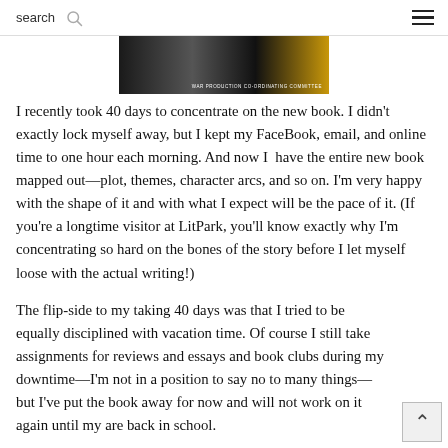search ☰
[Figure (photo): Partial view of a book cover with dark and yellow background and text 'WAR PRODUCTION CO-ORDINATING COMMITTEE']
I recently took 40 days to concentrate on the new book. I didn't exactly lock myself away, but I kept my FaceBook, email, and online time to one hour each morning. And now I  have the entire new book mapped out—plot, themes, character arcs, and so on. I'm very happy with the shape of it and with what I expect will be the pace of it. (If you're a longtime visitor at LitPark, you'll know exactly why I'm concentrating so hard on the bones of the story before I let myself loose with the actual writing!)
The flip-side to my taking 40 days was that I tried to be equally disciplined with vacation time. Of course I still take assignments for reviews and essays and book clubs during my downtime—I'm not in a position to say no to many things—but I've put the book away for now and will not work on it again until my are back in school.